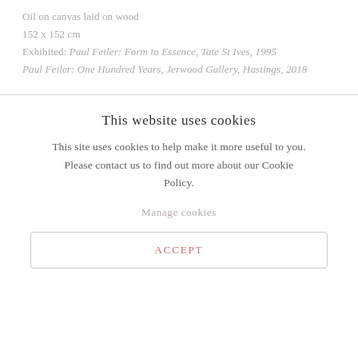Oil on canvas laid on wood
152 x 152 cm
Exhibited: Paul Feiler: Form to Essence, Tate St Ives, 1995
Paul Feiler: One Hundred Years, Jerwood Gallery, Hastings, 2018
This website uses cookies
This site uses cookies to help make it more useful to you. Please contact us to find out more about our Cookie Policy.
Manage cookies
ACCEPT